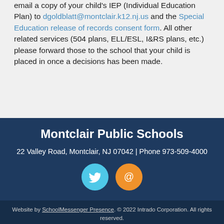email a copy of your child's IEP (Individual Education Plan) to dgoldblatt@montclair.k12.nj.us and the Special Education release of records consent form. All other related services (504 plans, ELL/ESL, I&RS plans, etc.) please forward those to the school that your child is placed in once a decisions has been made.
Montclair Public Schools
22 Valley Road, Montclair, NJ 07042 | Phone 973-509-4000
[Figure (infographic): Two circular social media icons: a light blue Twitter bird icon and an orange email/at-sign icon]
Website by SchoolMessenger Presence. © 2022 Intrado Corporation. All rights reserved.